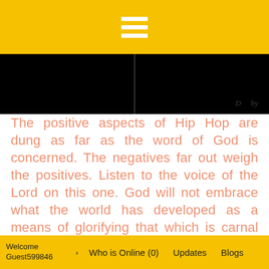[Figure (other): Yellow top navigation bar with white hamburger menu icon (three horizontal lines)]
[Figure (photo): Black banner image with a vertical line in the center and a handwritten signature in the bottom right corner]
The positive aspects of Hip Hop are dung as far as the word of God is concerned. The negatives far out weigh the positives. Listen to the voice of the Lord on this one. God will not embrace what the world has developed as a means of glorifying that which is carnal and sin filled. Therefore, being a Holy HipHopper is the just like saying I am a Holy Pimp or a Gospel Gangsta or a Thug for Christ! God forbid. The old man is dead! Come on Christians, stop loving the things of the world and what the world has taught us. God wants to come and totally wipe away the old man, the old
Welcome Guest599846  ›  Who is Online (0)  Updates  Blogs